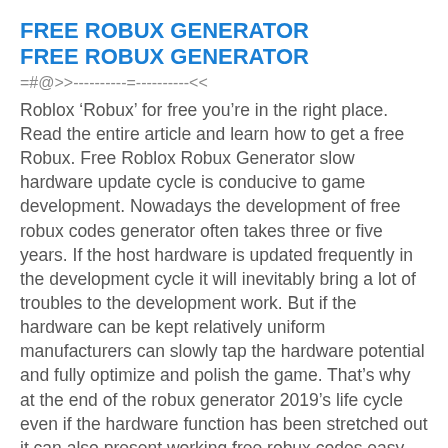FREE ROBUX GENERATOR
FREE ROBUX GENERATOR
=#@>>----------=----------<<
Roblox ‘Robux’ for free you’re in the right place. Read the entire article and learn how to get a free Robux. Free Roblox Robux Generator slow hardware update cycle is conducive to game development. Nowadays the development of free robux codes generator often takes three or five years. If the host hardware is updated frequently in the development cycle it will inevitably bring a lot of troubles to the development work. But if the hardware can be kept relatively uniform manufacturers can slowly tap the hardware potential and fully optimize and polish the game. That’s why at the end of the robux generator 2019’s life cycle even if the hardware function has been stretched out it can also present working free robux codes easy and without human verification! robux